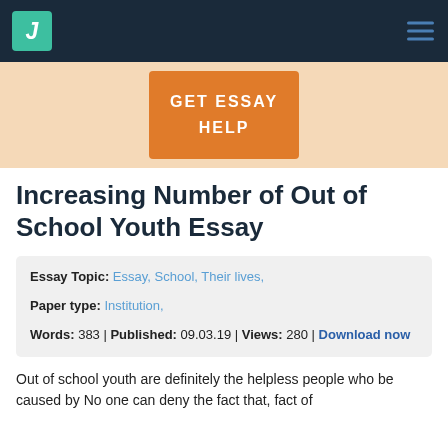J [logo] [hamburger menu]
[Figure (other): Orange 'GET ESSAY HELP' button on a peach/beige banner background]
Increasing Number of Out of School Youth Essay
Essay Topic: Essay, School, Their lives,
Paper type: Institution,
Words: 383 | Published: 09.03.19 | Views: 280 | Download now
Out of school youth are definitely the helpless people who be caused by No one can deny the fact that, fact of